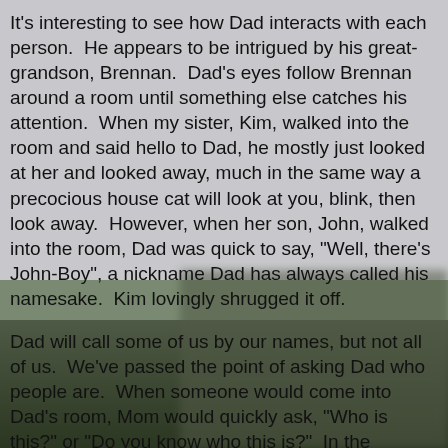It's interesting to see how Dad interacts with each person.  He appears to be intrigued by his great-grandson, Brennan.  Dad's eyes follow Brennan around a room until something else catches his attention.  When my sister, Kim, walked into the room and said hello to Dad, he mostly just looked at her and looked away, much in the same way a precocious house cat will look at you, blink, then look away.  However, when her son, John, walked into the room, Dad was quick to say, "Well, there's John-Boy", a nickname Dad has always called his namesake.  Kim lovingly shrugged it off.
Dad will call some of us by our names, but not all of us.  We've passed the point of asking Dad who people are.  When someone would come into Dad's room, Mom would quickly ask, "Who is this?" or "Do you know who this is?"  In the beginning, Dad would take a few seconds, look at his mother like she was insane, and then say our names.  Over time, Dad's response would become slower until it got to the point where Mom would ask "Who is this?" and Dad would either look at her as though he was annoyed or just completely ignore the question.  Dad got to the point where